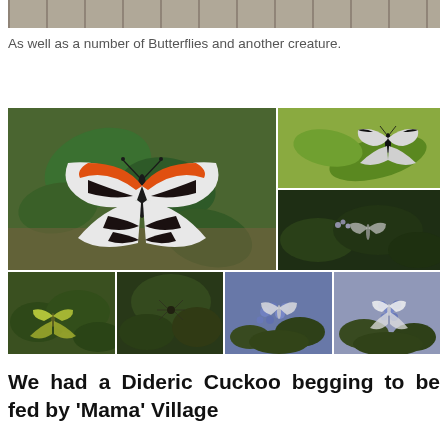[Figure (photo): Partial view of a striped/grid structure, likely a cage or fence, at top of page]
As well as a number of Butterflies and another creature.
[Figure (photo): Collage of butterfly photographs: large orange, black and white butterfly on green leaves (main, left), black and white butterfly on bright green leaf (top right), butterfly on dark green foliage (middle right), small yellow-green butterfly on plants (bottom left), spider on plants (bottom second), butterfly on blue flowers (bottom third), white butterfly on blue flowers (bottom fourth)]
We had a Dideric Cuckoo begging to be fed by 'Mama' Village